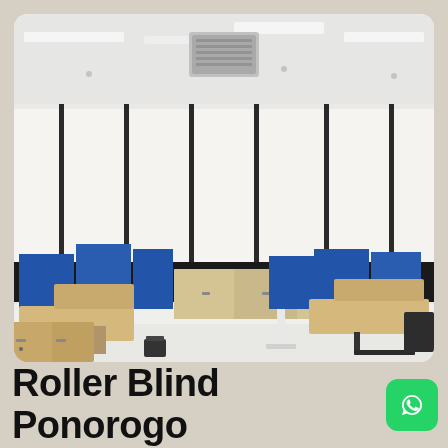[Figure (photo): Interior office space with white roller blinds pulled down on large windows along a wall. The room has blue and wood-tone cubicle workstation partitions arranged in clusters, white tile floor, black lower wall panels, and a ceiling with recessed LED strip lights and a central air conditioning vent.]
Roller Blind Ponorogo